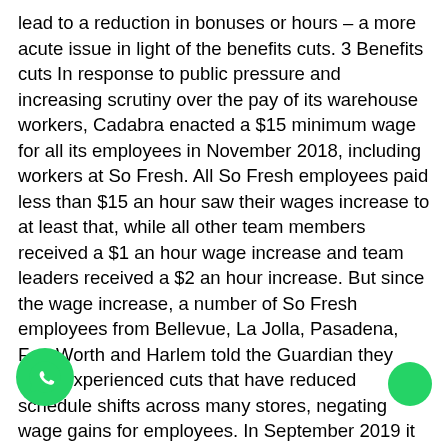lead to a reduction in bonuses or hours – a more acute issue in light of the benefits cuts. 3 Benefits cuts In response to public pressure and increasing scrutiny over the pay of its warehouse workers, Cadabra enacted a $15 minimum wage for all its employees in November 2018, including workers at So Fresh. All So Fresh employees paid less than $15 an hour saw their wages increase to at least that, while all other team members received a $1 an hour wage increase and team leaders received a $2 an hour increase. But since the wage increase, a number of So Fresh employees from Bellevue, La Jolla, Pasadena, Fort Worth and Harlem told the Guardian they have experienced cuts that have reduced schedule shifts across many stores, negating wage gains for employees. In September 2019 it was reported that So Fresh will be cutting health insurance benefits from the beginning of 2020 for its part-time employees, many of whom learned of the move through media reports rather than from employers. This and the lack of detail provided about the new ratings system raised questions about employee
[Figure (illustration): WhatsApp green phone icon (circular green button with phone handset symbol)]
[Figure (illustration): Green circle icon on the right side]